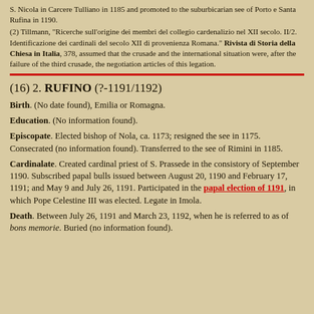S. Nicola in Carcere Tulliano in 1185 and promoted to the suburbicarian see of Porto e Santa Rufina in 1190.
(2) Tillmann, "Ricerche sull'origine dei membri del collegio cardenalizio nel XII secolo. II/2. Identificazione dei cardinali del secolo XII di provenienza Romana." Rivista di Storia della Chiesa in Italia, 378, assumed that the crusade and the international situation were, after the failure of the third crusade, the negotiation articles of this legation.
(16) 2. RUFINO (?-1191/1192)
Birth. (No date found), Emilia or Romagna.
Education. (No information found).
Episcopate. Elected bishop of Nola, ca. 1173; resigned the see in 1175. Consecrated (no information found). Transferred to the see of Rimini in 1185.
Cardinalate. Created cardinal priest of S. Prassede in the consistory of September 1190. Subscribed papal bulls issued between August 20, 1190 and February 17, 1191; and May 9 and July 26, 1191. Participated in the papal election of 1191, in which Pope Celestine III was elected. Legate in Imola.
Death. Between July 26, 1191 and March 23, 1192, when he is referred to as of bons memorie. Buried (no information found).